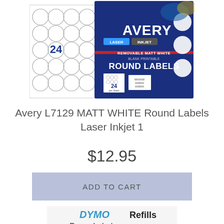[Figure (photo): Avery L7129 MATT WHITE Round Labels product package. Shows a white label sheet with 24 round labels arranged in a grid (4x6), alongside the navy blue Avery box with red stripe, featuring the text: AVERY, LASER + INKJET, REMOVABLE MATT WHITE, BLANK PRINTABLE, ROUND LABELS, 24 per sheet. Background shows two blue-and-gold product cans.]
Avery L7129 MATT WHITE Round Labels Laser Inkjet 1
$12.95
ADD TO CART
[Figure (photo): DYMO Paper Labels Refills product packaging, partially visible at bottom of page. White packaging with DYMO logo in blue and 'Refills' text in black.]